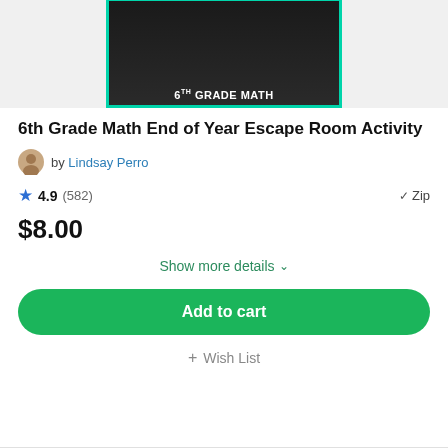[Figure (photo): Product thumbnail showing 6th Grade Math Escape Room Activity with challenge cards, worksheets, and a smartphone on a dark wood background with teal border]
6th Grade Math End of Year Escape Room Activity
by Lindsay Perro
4.9 (582) ✓ Zip
$8.00
Show more details ∨
Add to cart
+ Wish List